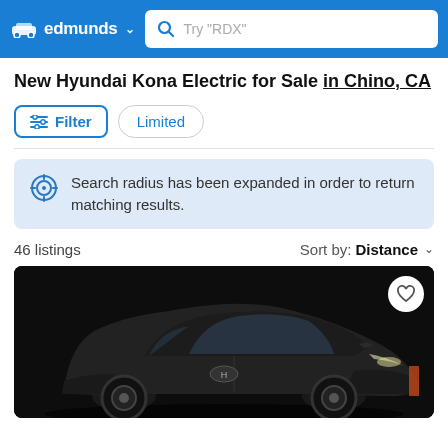edmunds — search bar: Try "RDX"
New Hyundai Kona Electric for Sale in Chino, CA
Filter | Limited
Search radius has been expanded in order to return matching results.
46 listings   Sort by: Distance
[Figure (photo): Black Hyundai Kona Electric SUV photographed from front-left angle on dark background, with a heart/favorite button in the upper right corner of the image.]